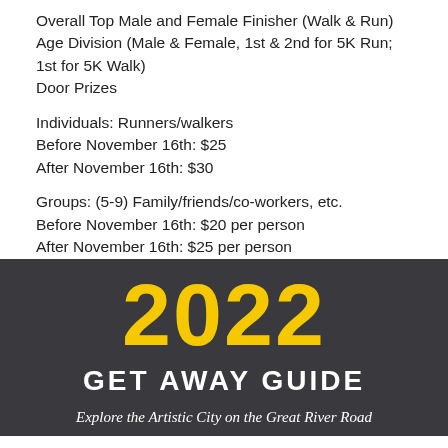Overall Top Male and Female Finisher (Walk & Run)
Age Division (Male & Female, 1st & 2nd for 5K Run; 1st for 5K Walk)
Door Prizes
Individuals: Runners/walkers
Before November 16th: $25
After November 16th: $30
Groups: (5-9) Family/friends/co-workers, etc.
Before November 16th: $20 per person
After November 16th: $25 per person
[Figure (infographic): Dark background promotional block with '2022' in large yellow text, 'GET AWAY GUIDE' in white bold text, and 'Explore the Artistic City on the Great River Road' in white italic text below.]